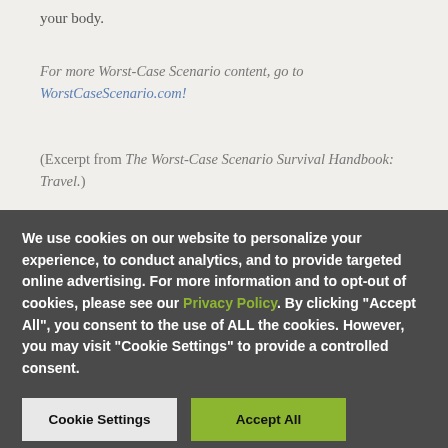your body.
For more Worst-Case Scenario content, go to WorstCaseScenario.com!
(Excerpt from The Worst-Case Scenario Survival Handbook: Travel.)
We use cookies on our website to personalize your experience, to conduct analytics, and to provide targeted online advertising. For more information and to opt-out of cookies, please see our Privacy Policy. By clicking "Accept All", you consent to the use of ALL the cookies. However, you may visit "Cookie Settings" to provide a controlled consent.
Cookie Settings
Accept All